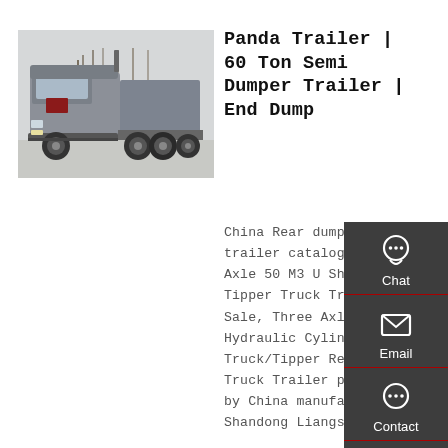[Figure (photo): A heavy-duty silver/gray semi truck tractor with multiple rear axles, photographed outdoors in a paved area with bare trees in the background.]
Panda Trailer | 60 Ton Semi Dumper Trailer | End Dump
China Rear dumper semi trailer catalog of 3 Axle 50 M3 U Shape Dump Tipper Truck Trailer for Sale, Three Axle Hydraulic Cylinder Dump Truck/Tipper Rear Dump Truck Trailer provided by China manufacturer - Shandong Liangshan Huayu